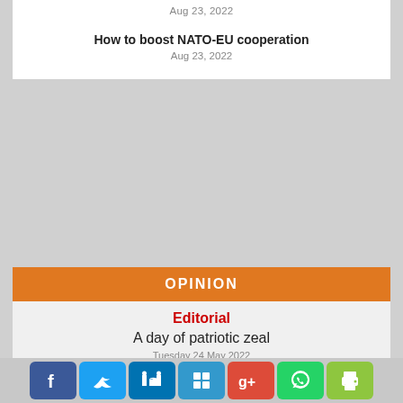Aug 23, 2022
How to boost NATO-EU cooperation
Aug 23, 2022
OPINION
Editorial
A day of patriotic zeal
Tuesday 24 May 2022
[Figure (illustration): Generic user avatar silhouette]
Fake neutrality: How western media language misrepresents Palestinians, shields Israel
Aug 23, 2022
Trump's blackmail defence
[Figure (illustration): Social media share buttons: Facebook, Twitter, LinkedIn, Delicious, Google+, WhatsApp, Print]